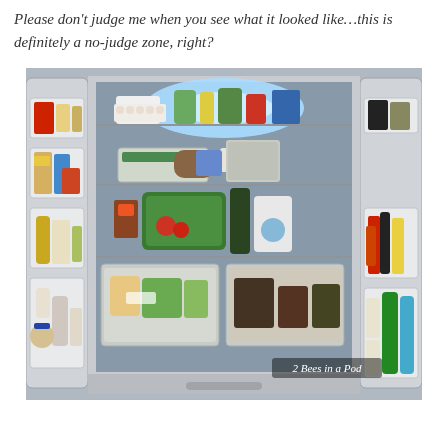Please don't judge me when you see what it looked like...this is definitely a no-judge zone, right?
[Figure (photo): Open french door refrigerator viewed from the front, showing both doors open with shelves stocked with various food items including vegetables, dairy products, condiments, and beverages. The interior is lit with blue-white LED lighting. A watermark in the bottom right reads '2 Bees in a Pod'.]